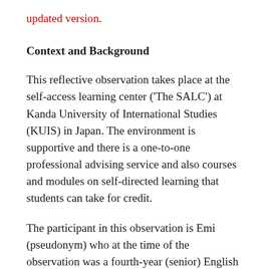updated version.
Context and Background
This reflective observation takes place at the self-access learning center ('The SALC') at Kanda University of International Studies (KUIS) in Japan. The environment is supportive and there is a one-to-one professional advising service and also courses and modules on self-directed learning that students can take for credit.
The participant in this observation is Emi (pseudonym) who at the time of the observation was a fourth-year (senior) English